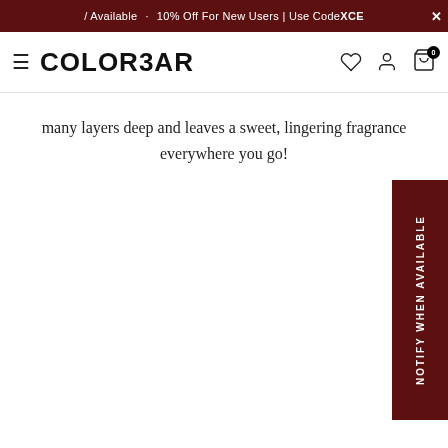/ Available · 10% Off For New Users | Use CodeXCE
COLORBAR
many layers deep and leaves a sweet, lingering fragrance everywhere you go!
NOTIFY WHEN AVAILABLE